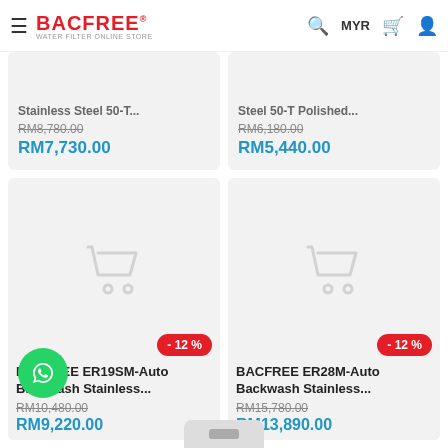BACFREE® WATER FILTER ONLINE STORE | MYR | Cart | Account
Stainless Steel 50-T... RM8,780.00 RM7,730.00
Steel 50-T Polished... RM6,180.00 RM5,440.00
[Figure (screenshot): Product card for BACFREE ER19SM-Auto Backwash Stainless with -12% badge, shopping cart placeholder image, original price RM10,480.00, sale price RM9,220.00]
[Figure (screenshot): Product card for BACFREE ER28M-Auto Backwash Stainless with -12% badge, shopping cart placeholder image, original price RM15,780.00, sale price RM13,890.00]